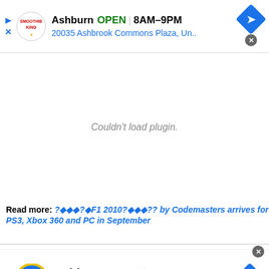[Figure (infographic): Top advertisement banner for Smoothie King in Ashburn. Shows OPEN 8AM-9PM, address 20035 Ashbrook Commons Plaza, Un.. with navigation arrow icon.]
Couldn't load plugin.
Read more: ?????F1 2010?????  by Codemasters arrives for PS3, Xbox 360 and PC in September
[Figure (infographic): Bottom advertisement banner for Lidl in Ashburn. Shows OPEN 8AM-9PM, address 44175 Ashbrook Marketpla... with navigation arrow icon.]